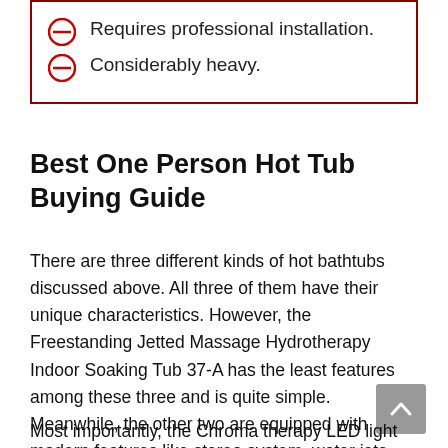Requires professional installation.
Considerably heavy.
Best One Person Hot Tub Buying Guide
There are three different kinds of hot bathtubs discussed above. All three of them have their unique characteristics. However, the Freestanding Jetted Massage Hydrotherapy Indoor Soaking Tub 37-A has the least features among these three and is quite simple. Meanwhile, the other two are equipped with modern features like stereo system, water jets, inline heater and so on.
Most importantly, the Chroma therapy LED light has